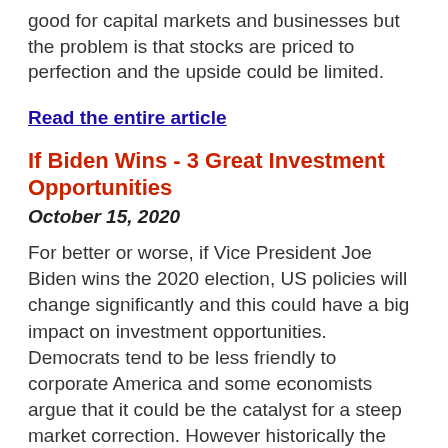good for capital markets and businesses but the problem is that stocks are priced to perfection and the upside could be limited.
Read the entire article
If Biden Wins - 3 Great Investment Opportunities
October 15, 2020
For better or worse, if Vice President Joe Biden wins the 2020 election, US policies will change significantly and this could have a big impact on investment opportunities.  Democrats tend to be less friendly to corporate America and some economists argue that it could be the catalyst for a steep market correction. However historically the data says otherwise, stocks